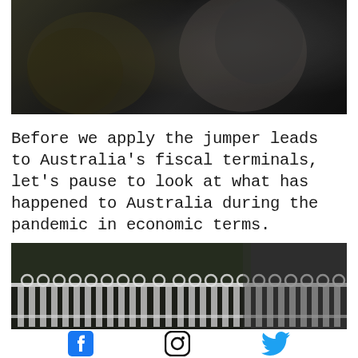[Figure (photo): Black and white photo, partially visible, showing a person in dark clothing against a dark background with some olive/khaki tones on the left side.]
Before we apply the jumper leads to Australia's fiscal terminals, let's pause to look at what has happened to Australia during the pandemic in economic terms.
[Figure (photo): Black and white photo of a decorative white metal fence with circular ornaments along the top rail and vertical pickets, in front of a dark background with trees.]
[Figure (infographic): Social media icons bar: Facebook (blue), Instagram (black outlined), Twitter (blue bird).]